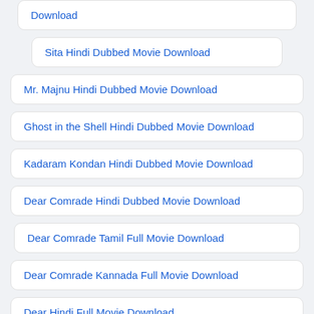Download
Sita Hindi Dubbed Movie Download
Mr. Majnu Hindi Dubbed Movie Download
Ghost in the Shell Hindi Dubbed Movie Download
Kadaram Kondan Hindi Dubbed Movie Download
Dear Comrade Hindi Dubbed Movie Download
Dear Comrade Tamil Full Movie Download
Dear Comrade Kannada Full Movie Download
Dear Hindi Full Movie Download